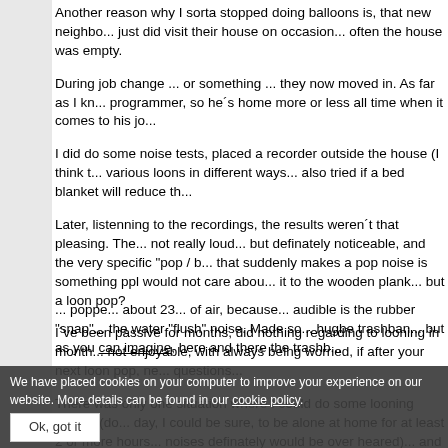Another reason why I sorta stopped doing balloons is, that new neighbo... just did visit their house on occasion... often the house was empty.
During job change ... or something ... they now moved in. As far as I kn... programmer, so he´s home more or less all time when it comes to his jo...
I did do some noise tests, placed a recorder outside the house (I think t... various loons in different ways... also tried if a bed blanket will reduce th...
Later, listenning to the recordings, the results weren´t that pleasing. The... not really loud... but definately noticeable, and the very specific "pop / b... that suddenly makes a pop noise is something ppl would not care abou... it to the wooden plank... but a loon pop?
I´ve been passive for months, did nothing regarding to looning in month... not enjoyable, with always being worried, if after your next loon pop, ne... questions...
There was only one situation where I could do some looning aggain (do... day, I could be sure, to be alone at home for at least 2 or more hours... noises definately would be over heared)... and yeah, had some fun.
Regarding my future, I rather see a transition. My brother finally moves... an additional bathroom which is so to speak "deeper" inside the house,... bathtub.
We have placed cookies on your computer to improve your experience on our website. More details can be found in our cookie policy. Ok, got it
... poppe... about 23... of air, because... audible is the rubber "snap"... the water "flush" noise. Made so... hugbe trashban... but as you can imagine, here and there the trashb...